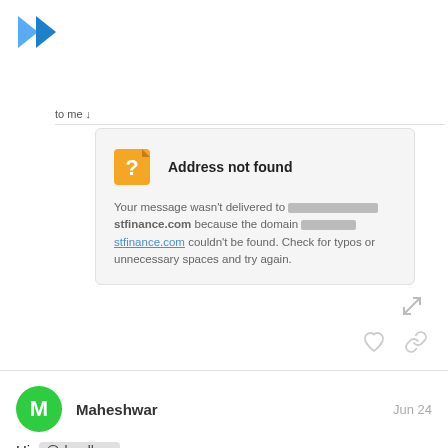[Figure (logo): Blue double chevron/arrow logo]
to me ↓
[Figure (screenshot): Email bounce error card: 'Address not found' — Your message wasn't delivered to [redacted]stfinance.com because the domain [redacted]stfinance.com couldn't be found. Check for typos or unnecessary spaces and try again.]
Maheshwar   Jun 24
Hi @dgudkov
The server version is 4.7.0, As I could not find the same desktop version.